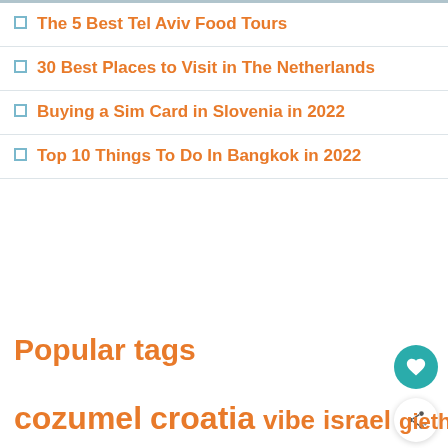The 5 Best Tel Aviv Food Tours
30 Best Places to Visit in The Netherlands
Buying a Sim Card in Slovenia in 2022
Top 10 Things To Do In Bangkok in 2022
Popular tags
cozumel croatia vibe israel giethoorn